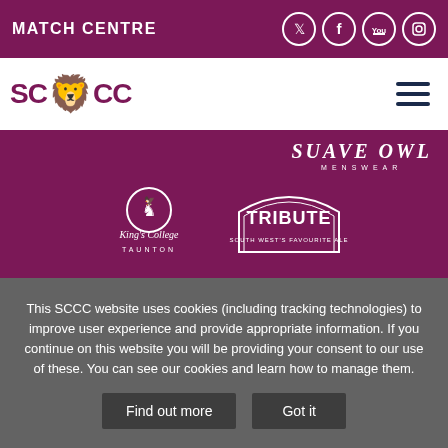MATCH CENTRE
[Figure (logo): SCCC Somerset Cricket Club logo with lion emblem]
[Figure (logo): Suave Owl Menswear sponsor logo]
[Figure (logo): King's College Taunton sponsor logo]
[Figure (logo): Tribute South West's Favourite Ale sponsor logo]
This SCCC website uses cookies (including tracking technologies) to improve user experience and provide appropriate information. If you continue on this website you will be providing your consent to our use of these. You can see our cookies and learn how to manage them.
Find out more
Got it